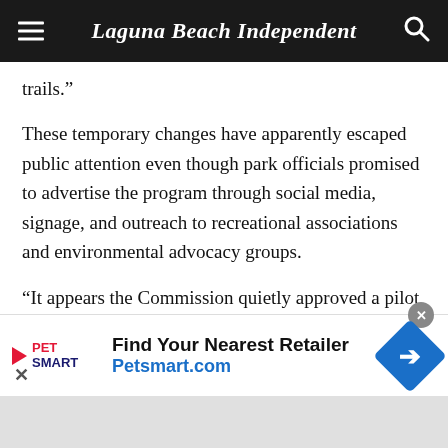Laguna Beach Independent
trails.”
These temporary changes have apparently escaped public attention even though park officials promised to advertise the program through social media, signage, and outreach to recreational associations and environmental advocacy groups.
“It appears the Commission quietly approved a pilot program, while doing the bare minimum to notify the public who regularly use the affected Wilderness Parks.”
[Figure (other): PetSmart advertisement banner: Find Your Nearest Retailer, Petsmart.com, with PetSmart logo and navigation arrow icon]